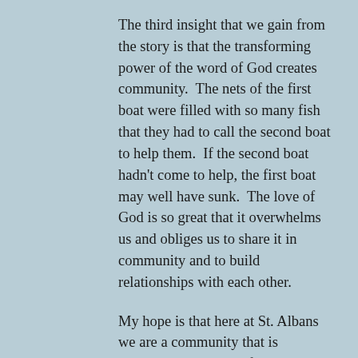The third insight that we gain from the story is that the transforming power of the word of God creates community.  The nets of the first boat were filled with so many fish that they had to call the second boat to help them.  If the second boat hadn't come to help, the first boat may well have sunk.  The love of God is so great that it overwhelms us and obliges us to share it in community and to build relationships with each other.
My hope is that here at St. Albans we are a community that is constantly being transformed by our encounter with the word of God.  That we are a community that is willing to put out into the deep water and let down our nets, in anticipation of